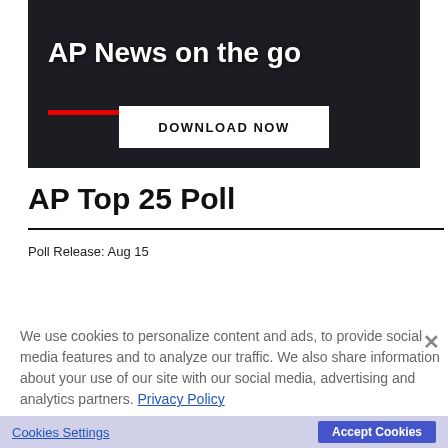[Figure (photo): AP News on the go advertisement banner with dark background, large white bold text 'AP News on the go', a red underline, and a white 'DOWNLOAD NOW' button.]
AP Top 25 Poll
Poll Release: Aug 15
| Rank | Trend | Team |
| --- | --- | --- |
| 1 | - | Alabama |
| 2 | - | Ohio State |
| 3 | - | Georgia |
| 4 | - |  |